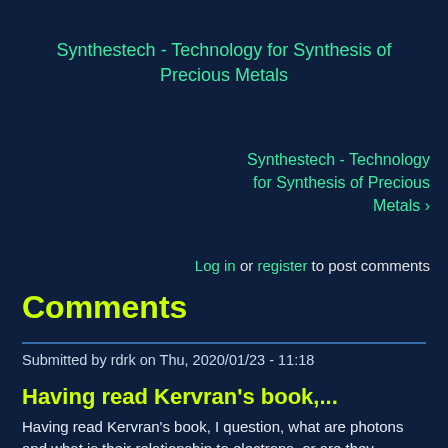Synthestech - Technology for Synthesis of Precious Metals
Synthestech - Technology for Synthesis of Precious Metals ›
Log in or register to post comments
Comments
Submitted by rdrk on Thu, 2020/01/23 - 11:18
Having read Kervran's book,...
Having read Kervran's book, I question, what are photons and what is their relationship to electrons, or are they